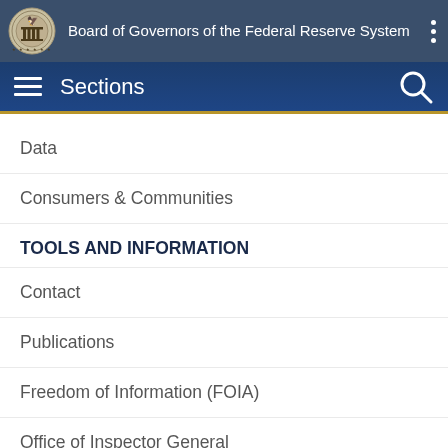Board of Governors of the Federal Reserve System
Sections
Data
Consumers & Communities
TOOLS AND INFORMATION
Contact
Publications
Freedom of Information (FOIA)
Office of Inspector General
Budget & Performance | Audit
No FEAR Act
Español